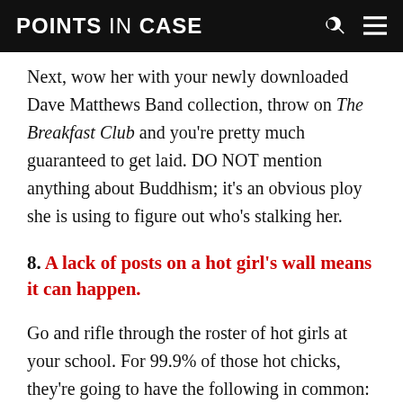POINTS IN CASE
Next, wow her with your newly downloaded Dave Matthews Band collection, throw on The Breakfast Club and you're pretty much guaranteed to get laid. DO NOT mention anything about Buddhism; it's an obvious ploy she is using to figure out who's stalking her.
8. A lack of posts on a hot girl's wall means it can happen.
Go and rifle through the roster of hot girls at your school. For 99.9% of those hot chicks, they're going to have the following in common: ridiculous profile